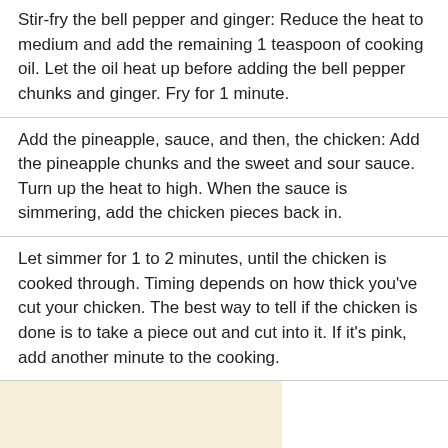Stir-fry the bell pepper and ginger: Reduce the heat to medium and add the remaining 1 teaspoon of cooking oil. Let the oil heat up before adding the bell pepper chunks and ginger. Fry for 1 minute.
Add the pineapple, sauce, and then, the chicken: Add the pineapple chunks and the sweet and sour sauce. Turn up the heat to high. When the sauce is simmering, add the chicken pieces back in.
Let simmer for 1 to 2 minutes, until the chicken is cooked through. Timing depends on how thick you've cut your chicken. The best way to tell if the chicken is done is to take a piece out and cut into it. If it's pink, add another minute to the cooking.
Adjust the seasoning and serve: Taste the sauce and add more brown sugar or vinegar to suit your tastes, if you'd like.
Serve hot with steamed white or brown rice.